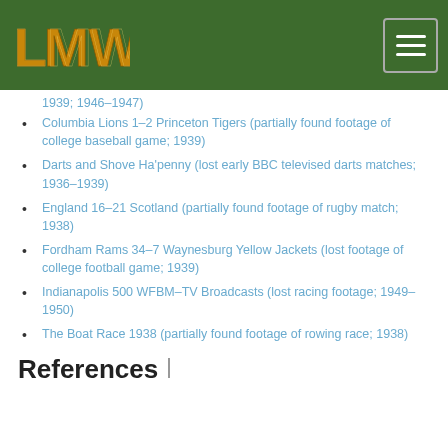LMW logo and navigation
1939; 1946–1947)
Columbia Lions 1–2 Princeton Tigers (partially found footage of college baseball game; 1939)
Darts and Shove Ha'penny (lost early BBC televised darts matches; 1936–1939)
England 16–21 Scotland (partially found footage of rugby match; 1938)
Fordham Rams 34–7 Waynesburg Yellow Jackets (lost footage of college football game; 1939)
Indianapolis 500 WFBM–TV Broadcasts (lost racing footage; 1949–1950)
The Boat Race 1938 (partially found footage of rowing race; 1938)
References